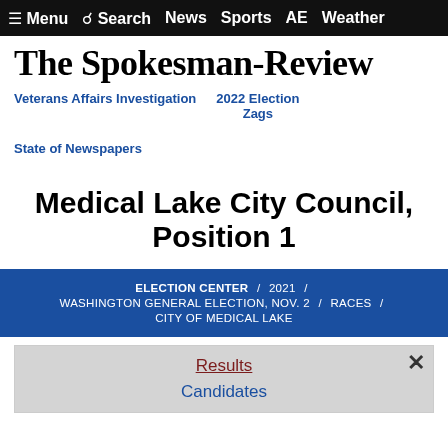≡ Menu  🔍 Search  News  Sports  AE  Weather
The Spokesman-Review
Veterans Affairs Investigation
2022 Election
Zags
State of Newspapers
Medical Lake City Council, Position 1
ELECTION CENTER / 2021 / WASHINGTON GENERAL ELECTION, NOV. 2 / RACES / CITY OF MEDICAL LAKE
Results
Candidates